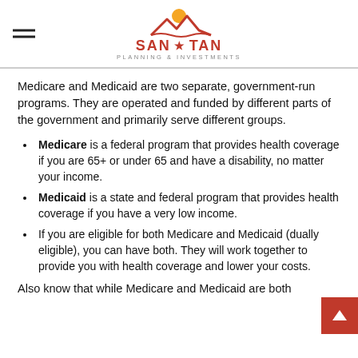SAN ★ TAN PLANNING & INVESTMENTS
Medicare and Medicaid are two separate, government-run programs. They are operated and funded by different parts of the government and primarily serve different groups.
Medicare is a federal program that provides health coverage if you are 65+ or under 65 and have a disability, no matter your income.
Medicaid is a state and federal program that provides health coverage if you have a very low income.
If you are eligible for both Medicare and Medicaid (dually eligible), you can have both. They will work together to provide you with health coverage and lower your costs.
Also know that while Medicare and Medicaid are both